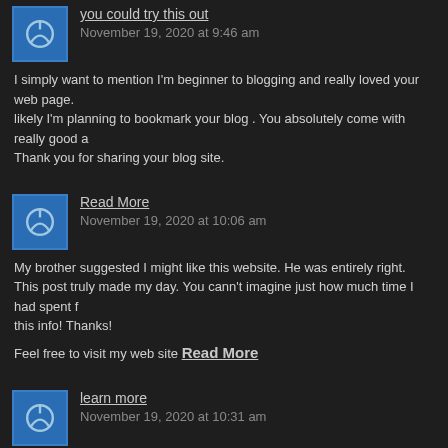you could try this out
November 19, 2020 at 9:46 am
I simply want to mention I'm beginner to blogging and really loved your web page. likely I'm planning to bookmark your blog . You absolutely come with really good a Thank you for sharing your blog site.
Read More
November 19, 2020 at 10:06 am
My brother suggested I might like this website. He was entirely right. This post truly made my day. You cann't imagine just how much time I had spent f this info! Thanks!
Feel free to visit my web site Read More
learn more
November 19, 2020 at 10:31 am
I was recommended this web site by my cousin. I'm not sure whether this post is written by him as no one else know such detailed about my trouble. You're wonderful! Thanks!